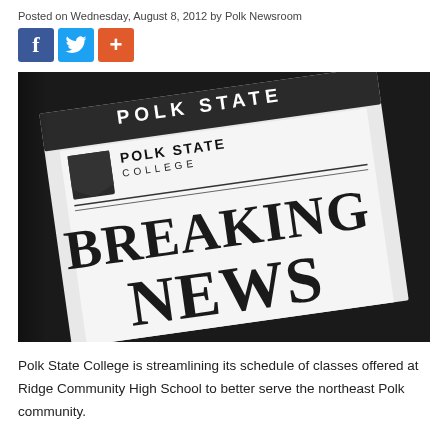Posted on Wednesday, August 8, 2012 by Polk Newsroom
[Figure (illustration): Polk State College Breaking News newspaper image — a folded newspaper with 'POLK STATE COLLEGE' logo at top and 'BREAKING NEWS' in large bold serif font, on a dark background]
Polk State College is streamlining its schedule of classes offered at Ridge Community High School to better serve the northeast Polk community.